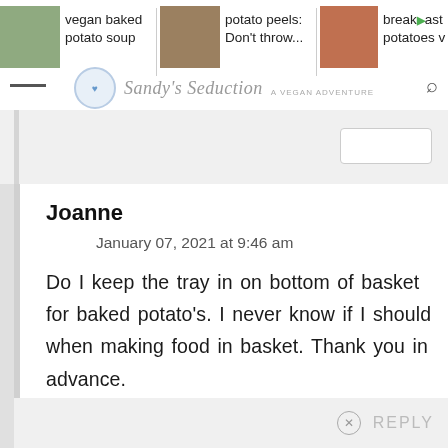vegan baked potato soup | potato peels: Don't throw... | breakfast potatoes
Joanne
January 07, 2021 at 9:46 am
Do I keep the tray in on bottom of basket for baked potato's. I never know if I should when making food in basket. Thank you in advance.
REPLY